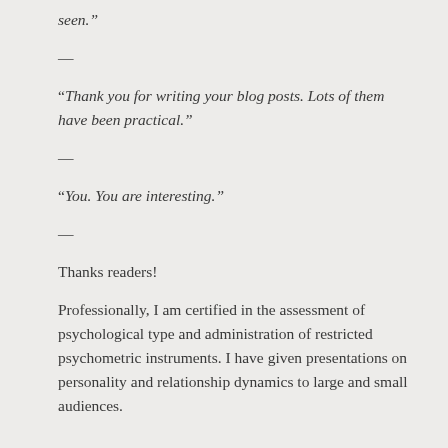seen.”
—
“Thank you for writing your blog posts. Lots of them have been practical.”
—
“You. You are interesting.”
—
Thanks readers!
Professionally, I am certified in the assessment of psychological type and administration of restricted psychometric instruments. I have given presentations on personality and relationship dynamics to large and small audiences.